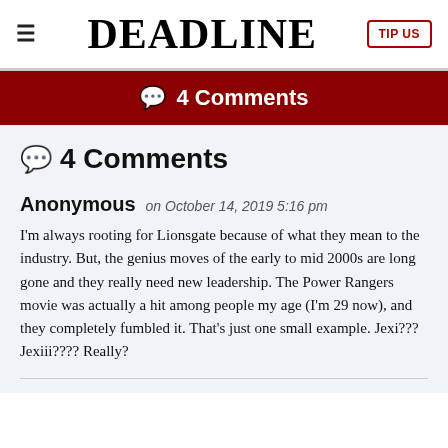≡  DEADLINE  TIP US
💬 4 Comments
💬 4 Comments
Anonymous on October 14, 2019 5:16 pm
I'm always rooting for Lionsgate because of what they mean to the industry. But, the genius moves of the early to mid 2000s are long gone and they really need new leadership. The Power Rangers movie was actually a hit among people my age (I'm 29 now), and they completely fumbled it. That's just one small example. Jexi??? Jexiii???? Really?